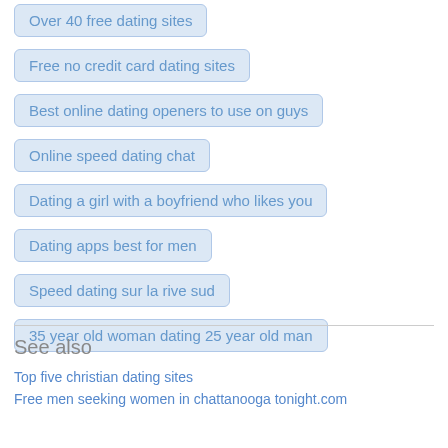Over 40 free dating sites
Free no credit card dating sites
Best online dating openers to use on guys
Online speed dating chat
Dating a girl with a boyfriend who likes you
Dating apps best for men
Speed dating sur la rive sud
35 year old woman dating 25 year old man
See also
Top five christian dating sites
Free men seeking women in chattanooga tonight.com